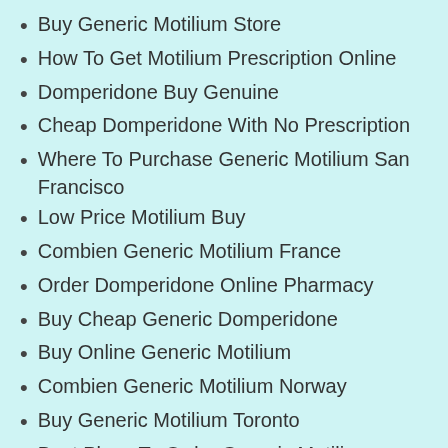Buy Generic Motilium Store
How To Get Motilium Prescription Online
Domperidone Buy Genuine
Cheap Domperidone With No Prescription
Where To Purchase Generic Motilium San Francisco
Low Price Motilium Buy
Combien Generic Motilium France
Order Domperidone Online Pharmacy
Buy Cheap Generic Domperidone
Buy Online Generic Motilium
Combien Generic Motilium Norway
Buy Generic Motilium Toronto
Best Place To Order Generic Motilium
Can You Buy Motilium Without A Prescription
How To Buy Generic Domperidone Online
Billig Generic Motilium San Francisco
Where Can I Buy Domperidone Online Safely
Domperidone Generic Usa
Cost Of Motilium Pills
How To Buy Motilium Without A Prescription
Where To Order Cheap Motilium Us